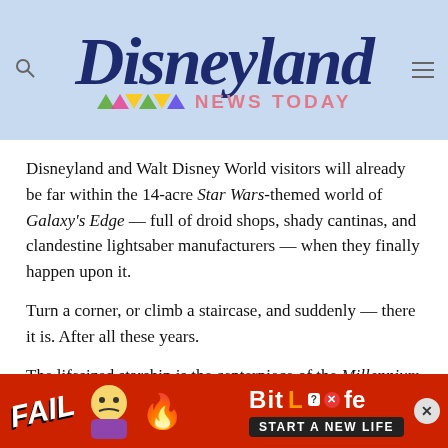Disneyland NEWS TODAY
Disneyland and Walt Disney World visitors will already be far within the 14-acre Star Wars-themed world of Galaxy's Edge — full of droid shops, shady cantinas, and clandestine lightsaber manufacturers — when they finally happen upon it.
Turn a corner, or climb a staircase, and suddenly — there it is. After all these years.
The lifesized starship is the centerpiece of the Millennium Falcon: Smugglers Run ride, which will finally give fans a
[Figure (screenshot): Advertisement banner for BitLife game showing FAIL text, cartoon character, flames, BitLife logo, and 'START A NEW LIFE' text on red background]